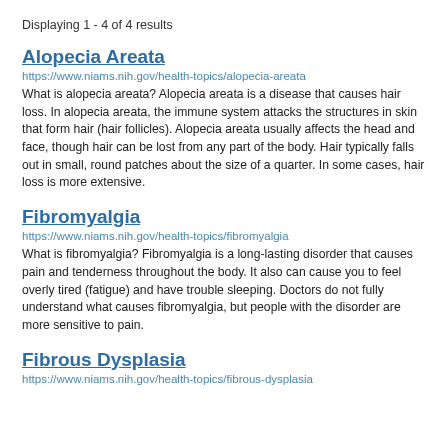Displaying 1 - 4 of 4 results
Alopecia Areata
https://www.niams.nih.gov/health-topics/alopecia-areata
What is alopecia areata? Alopecia areata is a disease that causes hair loss. In alopecia areata, the immune system attacks the structures in skin that form hair (hair follicles). Alopecia areata usually affects the head and face, though hair can be lost from any part of the body. Hair typically falls out in small, round patches about the size of a quarter. In some cases, hair loss is more extensive.
Fibromyalgia
https://www.niams.nih.gov/health-topics/fibromyalgia
What is fibromyalgia? Fibromyalgia is a long-lasting disorder that causes pain and tenderness throughout the body. It also can cause you to feel overly tired (fatigue) and have trouble sleeping. Doctors do not fully understand what causes fibromyalgia, but people with the disorder are more sensitive to pain.
Fibrous Dysplasia
https://www.niams.nih.gov/health-topics/fibrous-dysplasia